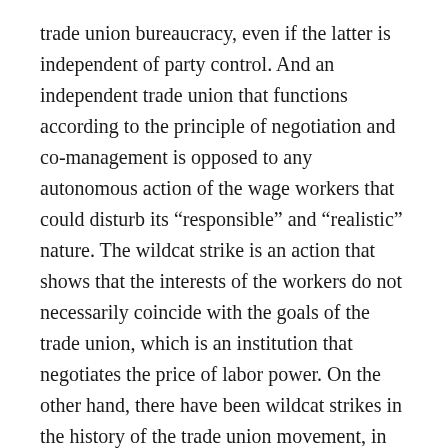trade union bureaucracy, even if the latter is independent of party control. And an independent trade union that functions according to the principle of negotiation and co-management is opposed to any autonomous action of the wage workers that could disturb its “responsible” and “realistic” nature. The wildcat strike is an action that shows that the interests of the workers do not necessarily coincide with the goals of the trade union, which is an institution that negotiates the price of labor power. On the other hand, there have been wildcat strikes in the history of the trade union movement, in the US and South Africa, for example, for reactionary, and even sometimes racist goals.
In China, of course, the situation is complicated. The unitary trade union (ACFTU, the All China Federation